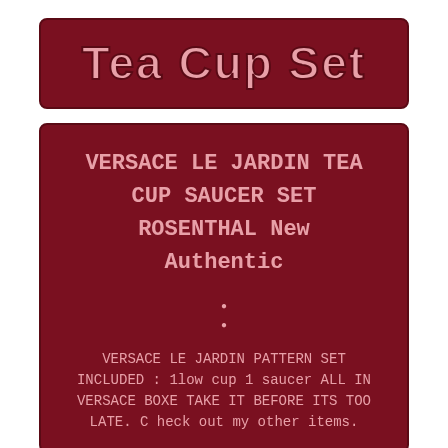Tea Cup Set
VERSACE LE JARDIN TEA CUP SAUCER SET ROSENTHAL New Authentic
VERSACE LE JARDIN PATTERN SET INCLUDED : 1low cup 1 saucer ALL IN VERSACE BOXE TAKE IT BEFORE ITS TOO LATE. C heck out my other items.